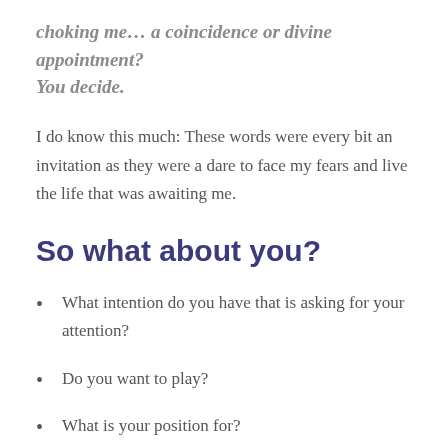choking me… a coincidence or divine appointment? You decide.
I do know this much: These words were every bit an invitation as they were a dare to face my fears and live the life that was awaiting me.
So what about you?
What intention do you have that is asking for your attention?
Do you want to play?
What is your position for?